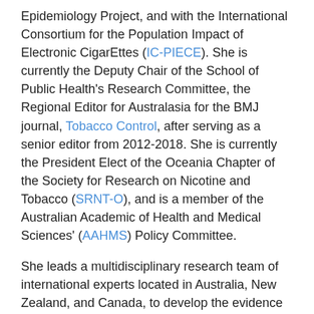Epidemiology Project, and with the International Consortium for the Population Impact of Electronic CigarEttes (IC-PIECE). She is currently the Deputy Chair of the School of Public Health's Research Committee, the Regional Editor for Australasia for the BMJ journal, Tobacco Control, after serving as a senior editor from 2012-2018. She is currently the President Elect of the Oceania Chapter of the Society for Research on Nicotine and Tobacco (SRNT-O), and is a member of the Australian Academic of Health and Medical Sciences' (AAHMS) Policy Committee.
She leads a multidisciplinary research team of international experts located in Australia, New Zealand, and Canada, to develop the evidence base for tobacco endgame strategies and to identify the most promising policies that could end the cigarette epidemic in Australia, and beyond. Her research program includes consideration of how these policies could be implemented, while mitigating potential